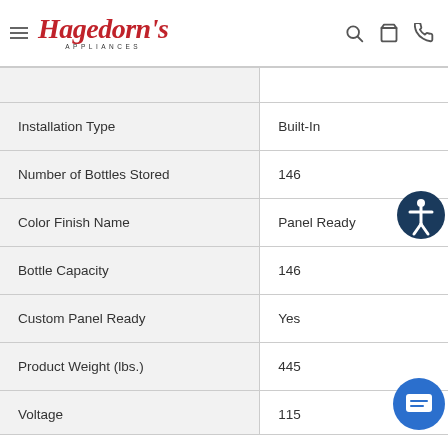Hagedorn's Appliances
| Attribute | Value |
| --- | --- |
| Installation Type | Built-In |
| Number of Bottles Stored | 146 |
| Color Finish Name | Panel Ready |
| Bottle Capacity | 146 |
| Custom Panel Ready | Yes |
| Product Weight (lbs.) | 445 |
| Voltage | 115 |